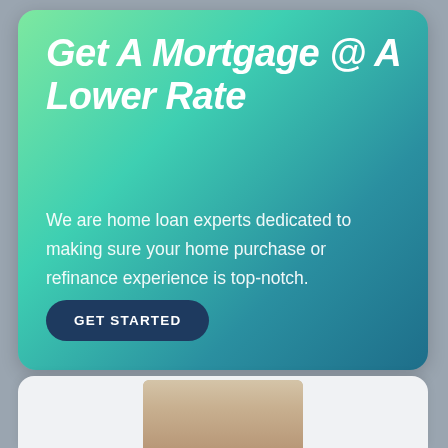Get A Mortgage @ A Lower Rate
We are home loan experts dedicated to making sure your home purchase or refinance experience is top-notch.
GET STARTED
[Figure (photo): Partial view of a person (head/shoulders) at the bottom of the page, overlaid on a light gray card background.]